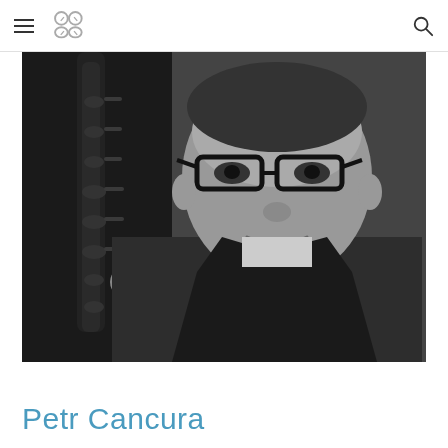navigation header with hamburger menu, logo, and search icon
[Figure (photo): Black and white portrait photo of Petr Cancura, a man wearing glasses and a dark blazer, holding a saxophone beside him, smiling slightly]
Petr Cancura